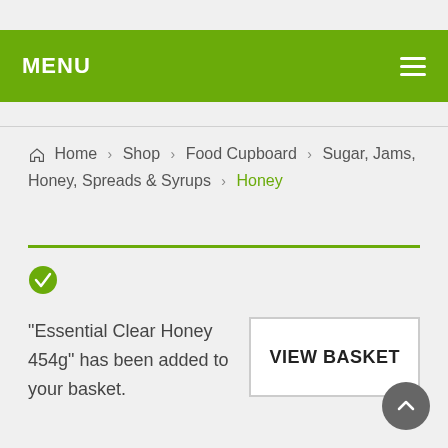MENU
Home > Shop > Food Cupboard > Sugar, Jams, Honey, Spreads & Syrups > Honey
"Essential Clear Honey 454g" has been added to your basket.
VIEW BASKET